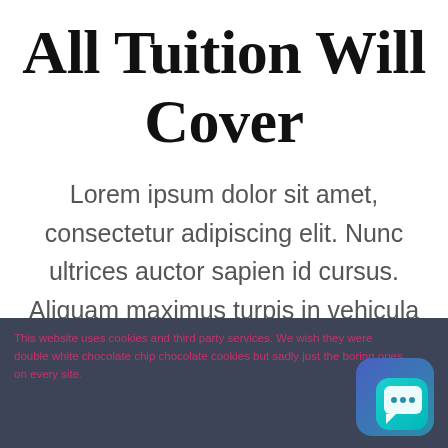All Tuition Will Cover
Lorem ipsum dolor sit amet, consectetur adipiscing elit. Nunc ultrices auctor sapien id cursus. Aliquam maximus turpis in vehicula semper.
This website uses cookies and third party services. We wish they were double white chocolate chip chocolate cookies but sadly just the boring ones on every site.
[Figure (illustration): Chat/messaging app icon with rounded square gradient background (blue to cyan) and a speech bubble with three dots symbol]